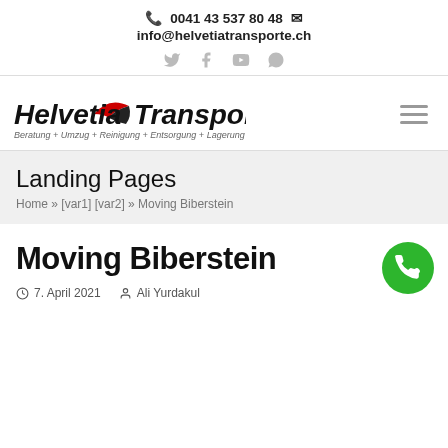📞 0041 43 537 80 48  ✉  info@helvetiatransporte.ch
[Figure (logo): Helvetia Transporte logo with red and black swoosh graphic. Italic bold text: Helvetia Transporte. Subtitle: Beratung + Umzug + Reinigung + Entsorgung + Lagerung]
Landing Pages
Home » [var1] [var2] » Moving Biberstein
Moving Biberstein
7. April 2021   Ali Yurdakul